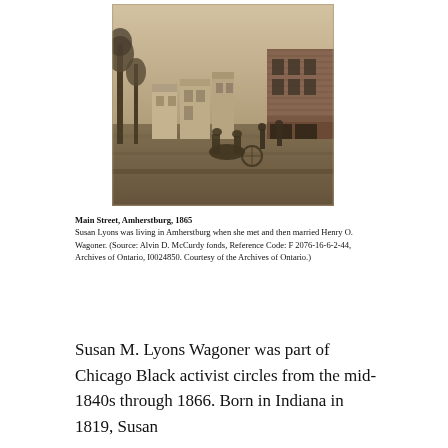[Figure (photo): Sepia-toned historical photograph of Main Street in Amherstburg, 1865. Shows a dirt road with horse-drawn wagons, trees lining the left side, wooden and brick buildings on the right including storefronts, and people gathered near the buildings.]
Main Street, Amherstburg, 1865
Susan Lyons was living in Amherstburg when she met and then married Henry O. Wagoner. (Source: Alvin D. McCurdy fonds, Reference Code: F 2076-16-6-2-44, Archives of Ontario, I0024850. Courtesy of the Archives of Ontario.)
Susan M. Lyons Wagoner was part of Chicago Black activist circles from the mid-1840s through 1866. Born in Indiana in 1819, Susan